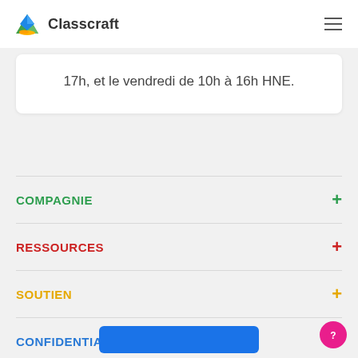Classcraft
17h, et le vendredi de 10h à 16h HNE.
COMPAGNIE
RESSOURCES
SOUTIEN
CONFIDENTIALITÉ